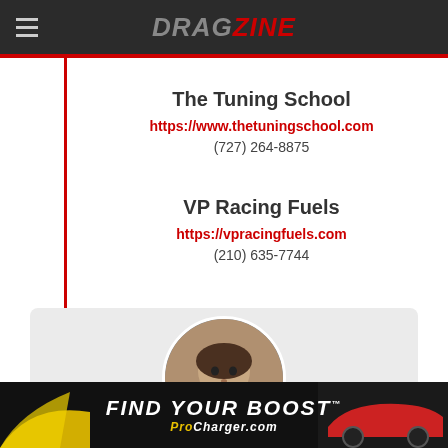DRAGZINE
The Tuning School
https://www.thetuningschool.com
(727) 264-8875
VP Racing Fuels
https://vpracingfuels.com
(210) 635-7744
[Figure (photo): Circular portrait photo of a person at a racing event, partially visible]
[Figure (infographic): ProCharger advertisement banner reading FIND YOUR BOOST ProCharger.com with yellow swoosh and car image]